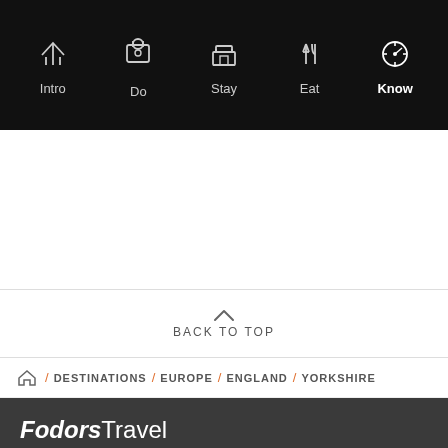Intro | Do | Stay | Eat | Know
BACK TO TOP
DESTINATIONS / EUROPE / ENGLAND / YORKSHIRE
Fodor's Travel
About Us
Instagram
Contact Us
Site Map